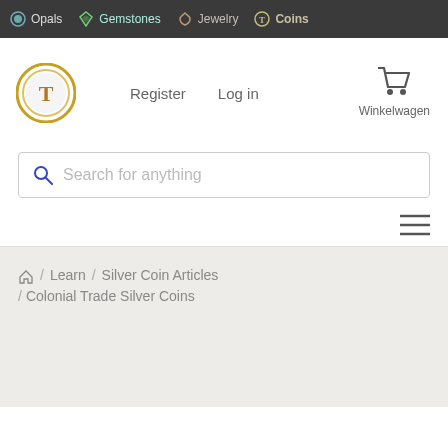Opals  Gemstones  Jewelry  Coins
[Figure (screenshot): Website header with logo circle, Register and Log in links, and shopping cart (Winkelwagen)]
[Figure (screenshot): Search bar with magnifying glass icon and placeholder text 'Search for anything']
[Figure (screenshot): Hamburger menu icon (three horizontal lines) on the right]
/ Learn / Silver Coin Articles / Colonial Trade Silver Coins